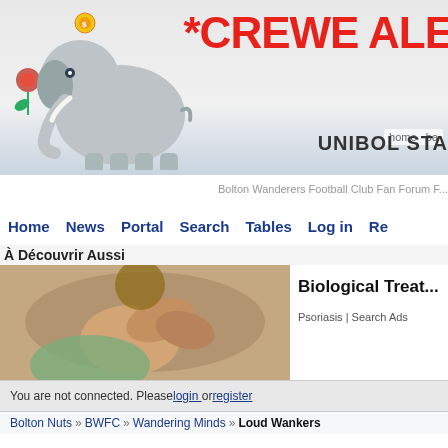[Figure (screenshot): Crewe Alexandra football club logo/banner with elephant mascot and red text 'CREWE ALE...' and 'UNIBOL STA...' text visible]
Bolton Wanderers Football Club Fan Forum
Home  News  Portal  Search  Tables  Log in  Re...
À Découvrir Aussi
[Figure (photo): Person scratching neck/skin - advertisement image for Biological Treatment for Psoriasis]
Biological Treat...
Psoriasis | Search Ads
You are not connected. Please login or register
Bolton Nuts » BWFC » Wandering Minds » Loud Wankers
Loud Wankers
9 posters
Go to page : 1, 2 ▸
Message [Page 1 of 2]